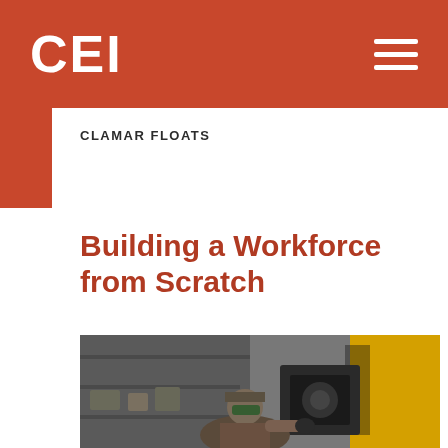CEI
CLAMAR FLOATS
Building a Workforce from Scratch
[Figure (photo): A worker wearing a cap and protective goggles leans in to examine or work on industrial machinery in a workshop setting. A large yellow piece of equipment is on the right, and workshop shelves are visible in the background.]